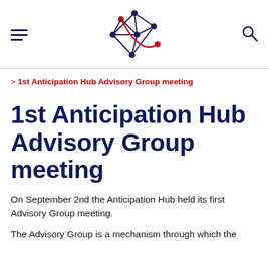[Figure (logo): Anticipation Hub network logo — a geometric polyhedron shape with dark navy blue lines and nodes, with a red curved line and red node accent]
> 1st Anticipation Hub Advisory Group meeting
1st Anticipation Hub Advisory Group meeting
On September 2nd the Anticipation Hub held its first Advisory Group meeting.
The Advisory Group is a mechanism through which the